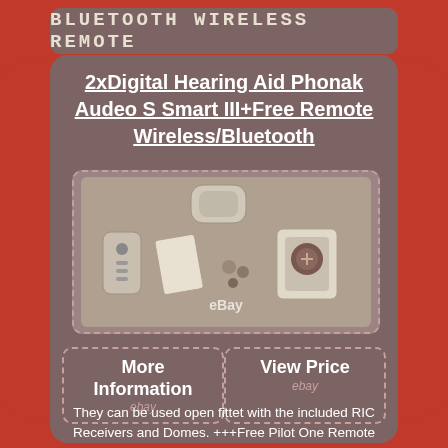BLUETOOTH WIRELESS REMOTE
2xDigital Hearing Aid Phonak Audeo S Smart III+Free Remote Wireless/Bluetooth
[Figure (photo): Product photo showing Phonak Audeo S hearing aid kit with remote control, accessories, batteries, and dome tips arranged on a surface, with eBay watermark]
More Information
ebay
View Price
ebay
They can be used open fittet with the included RIC Receivers and Domes. +++Free Pilot One Remote